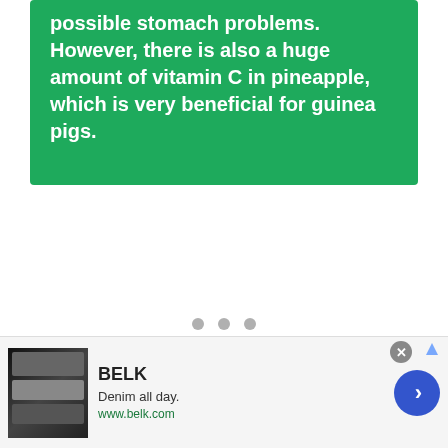possible stomach problems. However, there is also a huge amount of vitamin C in pineapple, which is very beneficial for guinea pigs.
[Figure (other): Pagination dots: three gray circles indicating a slideshow position indicator]
[Figure (other): Advertisement banner for BELK: 'Denim all day. www.belk.com' with a close button, thumbnail image, and a blue arrow button]